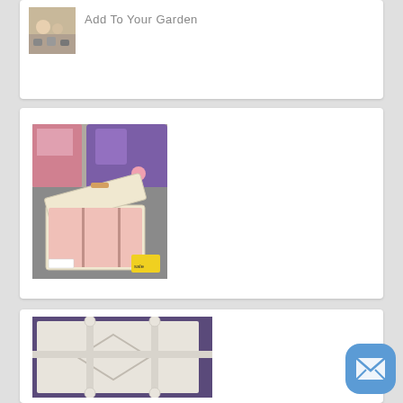Add To Your Garden
[Figure (photo): Small decorative items on a table, partially visible at top of page]
[Figure (photo): Open decorative suitcase/jewelry box with pink interior, displayed at a market or craft fair]
[Figure (photo): White decorative item with cross/ribbon pattern on purple background]
[Figure (illustration): Blue rounded square mail/envelope icon button]